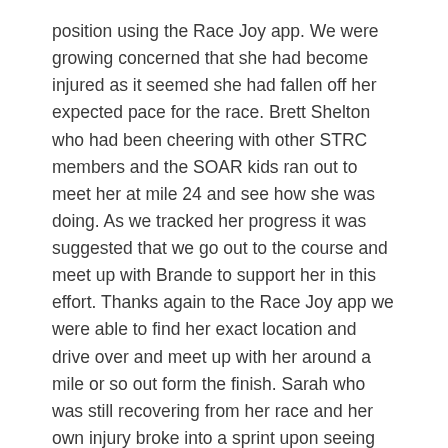position using the Race Joy app. We were growing concerned that she had become injured as it seemed she had fallen off her expected pace for the race. Brett Shelton who had been cheering with other STRC members and the SOAR kids ran out to meet her at mile 24 and see how she was doing. As we tracked her progress it was suggested that we go out to the course and meet up with Brande to support her in this effort. Thanks again to the Race Joy app we were able to find her exact location and drive over and meet up with her around a mile or so out form the finish. Sarah who was still recovering from her race and her own injury broke into a sprint upon seeing her and ran out to support her. Lindsay, Joette, Eric, and I all joined them.
Brande was clearly in pain. She was gutting it out through the pain of her injury. We were able to walk and ran with her towards the finish line where she successfully finished her race. Despite being injured, she was still moving at a decent